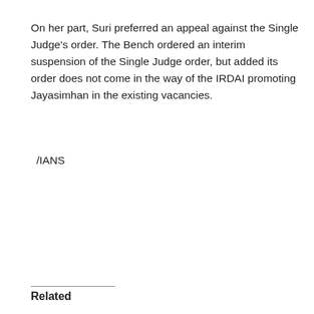On her part, Suri preferred an appeal against the Single Judge's order. The Bench ordered an interim suspension of the Single Judge order, but added its order does not come in the way of the IRDAI promoting Jayasimhan in the existing vacancies.
/IANS
Related
India Inc sees steepest decline in deal values, big-ticket investments vanish
New Delhi, Aug 19 : India Inc saw steepest decline in deal values owing to the lack of big-ticket investments last month, registering 171 mergers and
'Need to use state-of-the-art technology to get people to use public transport'
New Delhi, Aug 19 : To make the maximum number of citizens use the public transport, it is time to use technology in a sophisticated way, said Union R